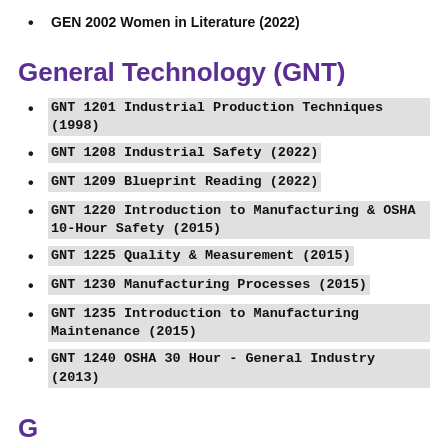GEN 2002 Women in Literature (2022)
General Technology (GNT)
GNT 1201 Industrial Production Techniques (1998)
GNT 1208 Industrial Safety (2022)
GNT 1209 Blueprint Reading (2022)
GNT 1220 Introduction to Manufacturing & OSHA 10-Hour Safety (2015)
GNT 1225 Quality & Measurement (2015)
GNT 1230 Manufacturing Processes (2015)
GNT 1235 Introduction to Manufacturing Maintenance (2015)
GNT 1240 OSHA 30 Hour - General Industry (2013)